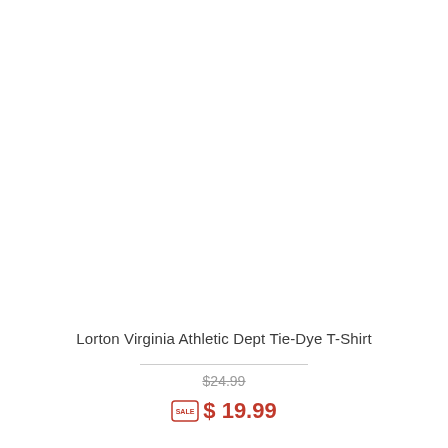[Figure (photo): Product image area - white/blank area showing a tie-dye t-shirt (image not visible in scan)]
Lorton Virginia Athletic Dept Tie-Dye T-Shirt
$24.99
$ 19.99